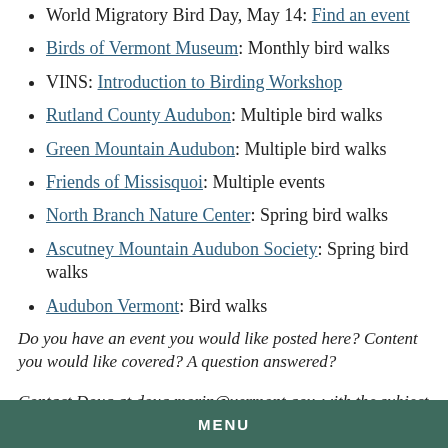World Migratory Bird Day, May 14: Find an event
Birds of Vermont Museum: Monthly bird walks
VINS: Introduction to Birding Workshop
Rutland County Audubon: Multiple bird walks
Green Mountain Audubon: Multiple bird walks
Friends of Missisquoi: Multiple events
North Branch Nature Center: Spring bird walks
Ascutney Mountain Audubon Society: Spring bird walks
Audubon Vermont: Bird walks
Do you have an event you would like posted here? Content you would like covered? A question answered? Contact Doug at doug.morin@vermont.gov, with the subject line "Birding Report."
MENU